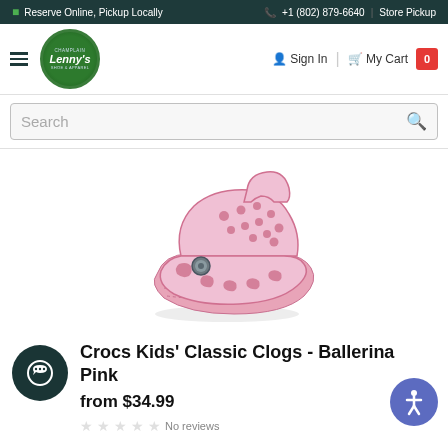Reserve Online, Pickup Locally  |  +1 (802) 879-6640  |  Store Pickup
[Figure (logo): Lenny's Shoe & Apparel logo - circular green logo with store name]
Sign In  |  My Cart  0
Search
[Figure (photo): Crocs Kids Classic Clog in Ballerina Pink color - side view of a light pink plastic clog shoe with holes on top and strap at back]
[Figure (other): Chat icon - dark teal circular chat/message button]
Crocs Kids' Classic Clogs - Ballerina Pink
from $34.99
No reviews
[Figure (other): Accessibility button - purple circular button with person/accessibility icon]